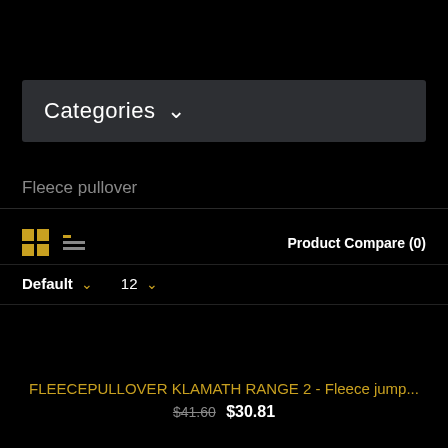Categories
Fleece pullover
Product Compare (0)
Default  12
FLEECEPULLOVER KLAMATH RANGE 2 - Fleece jump...
$41.60  $30.81